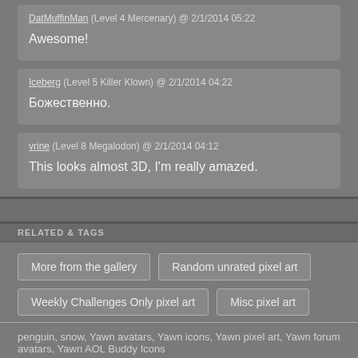DatMuffinMan (Level 4 Mercenary) @ 2/1/2014 05:22
Awesome!
Iceberg (Level 5 Killer Klown) @ 2/1/2014 04:22
Божественно.
vrine (Level 8 Megalodon) @ 2/1/2014 04:12
This looks almost 3D, I'm really amazed.
RELATED & TAGS
More from the gallery
Random unrated pixel art
Weekly Challenges Only pixel art
Misc pixel art
penguin, snow, Yawn avatars, Yawn icons, Yawn pixel art, Yawn forum avatars, Yawn AOL Buddy Icons